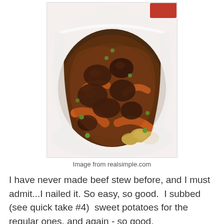[Figure (photo): A white bowl filled with beef stew containing chunks of braised beef, baby carrots, sliced potatoes, and green peas in a rich dark brown sauce.]
Image from realsimple.com
I have never made beef stew before, and I must admit...I nailed it. So easy, so good.  I subbed (see quick take #4)  sweet potatoes for the regular ones, and again - so good.